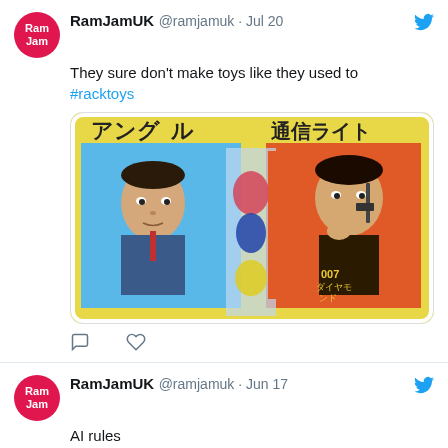[Figure (screenshot): Tweet from RamJamUK (@ramjamuk) dated Jul 20. Text: 'They sure don't make toys like they used to #racktoys'. Contains photo of vintage Japanese toy packaging featuring cartoon spy figures with Japanese text including '007' branding.]
[Figure (screenshot): Tweet from RamJamUK (@ramjamuk) dated Jun 17. Text: 'AI rules'. Contains image showing DALL·E mini logo on dark background.]